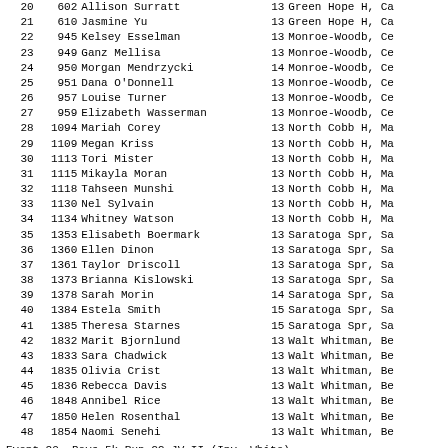| # | ID | Name | Year | School |
| --- | --- | --- | --- | --- |
| 20 | 602 | Allison Surratt | 13 | Green Hope H, Ca |
| 21 | 610 | Jasmine Yu | 13 | Green Hope H, Ca |
| 22 | 945 | Kelsey Esselman | 13 | Monroe-Woodb, Ce |
| 23 | 949 | Ganz Mellisa | 13 | Monroe-Woodb, Ce |
| 24 | 950 | Morgan Mendrzycki | 14 | Monroe-Woodb, Ce |
| 25 | 951 | Dana O'Donnell | 13 | Monroe-Woodb, Ce |
| 26 | 957 | Louise Turner | 13 | Monroe-Woodb, Ce |
| 27 | 959 | Elizabeth Wasserman | 13 | Monroe-Woodb, Ce |
| 28 | 1094 | Mariah Corey | 13 | North Cobb H, Ma |
| 29 | 1109 | Megan Kriss | 13 | North Cobb H, Ma |
| 30 | 1113 | Tori Mister | 13 | North Cobb H, Ma |
| 31 | 1115 | Mikayla Moran | 13 | North Cobb H, Ma |
| 32 | 1118 | Tahseen Munshi | 13 | North Cobb H, Ma |
| 33 | 1130 | Nel Sylvain | 13 | North Cobb H, Ma |
| 34 | 1134 | Whitney Watson | 13 | North Cobb H, Ma |
| 35 | 1353 | Elisabeth Boermark | 13 | Saratoga Spr, Sa |
| 36 | 1360 | Ellen Dinon | 13 | Saratoga Spr, Sa |
| 37 | 1361 | Taylor Driscoll | 13 | Saratoga Spr, Sa |
| 38 | 1373 | Brianna Kislowski | 13 | Saratoga Spr, Sa |
| 39 | 1378 | Sarah Morin | 14 | Saratoga Spr, Sa |
| 40 | 1384 | Estela Smith | 15 | Saratoga Spr, Sa |
| 41 | 1385 | Theresa Starnes | 15 | Saratoga Spr, Sa |
| 42 | 1832 | Marit Bjornlund | 13 | Walt Whitman, Be |
| 43 | 1833 | Sara Chadwick | 13 | Walt Whitman, Be |
| 44 | 1835 | Olivia Crist | 13 | Walt Whitman, Be |
| 45 | 1836 | Rebecca Davis | 13 | Walt Whitman, Be |
| 46 | 1848 | Annibel Rice | 13 | Walt Whitman, Be |
| 47 | 1850 | Helen Rosenthal | 13 | Walt Whitman, Be |
| 48 | 1854 | Naomi Senehi | 13 | Walt Whitman, Be |
Event 20  Boys 5k Run CC JV II (Inv, White)
| # | ID | Name | Year | School |
| --- | --- | --- | --- | --- |
| 1 | 48 | Sean Craig | 10 | Athens Drive, Ra |